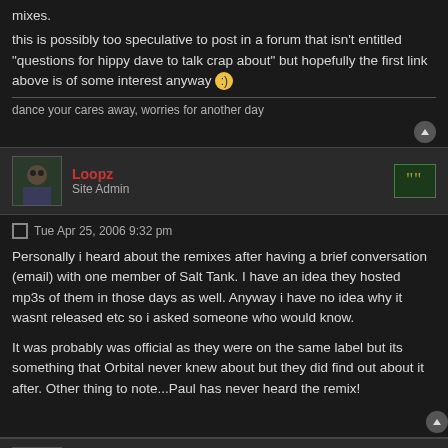mixes.
this is possibly too speculative to post in a forum that isn't entitled "questions for hippy dave to talk crap about" but hopefully the first link above is of some interest anyway 🙂
dance your cares away, worries for another day
Loopz
Site Admin
Tue Apr 25, 2006 9:32 pm
Personally i heard about the remixes after having a brief conversation (email) with one member of Salt Tank. I have an idea they hosted mp3s of them in those days as well. Anyway i have no idea why it wasnt released etc so i asked someone who would know.
It was probably was official as they were on the same label but its something that Orbital never knew about but they did find out about it after. Other thing to note...Paul has never heard the remix!
Dog
Detached